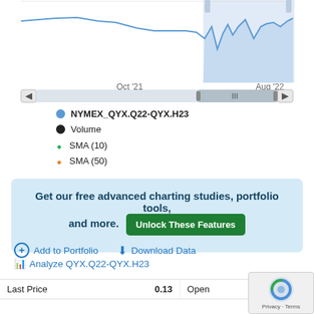[Figure (continuous-plot): Line chart showing NYMEX_QYX.Q22-QYX.H23 price over time, with a selected range highlighted in blue from approximately Jul 2022 to Aug 2022. X-axis labels: Oct '21, Aug '22. Navigation arrows on left and right. A scrollbar/range selector at bottom with handle labeled III.]
NYMEX_QYX.Q22-QYX.H23
Volume
SMA (10)
SMA (50)
Get our free advanced charting studies, portfolio tools, and more. Unlock These Features
Add to Portfolio
Download Data
Analyze QYX.Q22-QYX.H23
|  |  |  |  |
| --- | --- | --- | --- |
| Last Price | 0.13 | Open | 0.13 |
| Previous Close | 0.13 | High |  |
| Low | 0.13 | Time | 2022-08-22 0 |
| Expiration | 2022-08-31 |  |  |